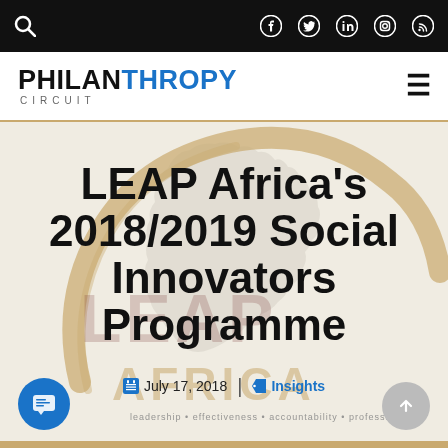Philanthropy Circuit – navigation bar with search and social icons (Facebook, Twitter, LinkedIn, Instagram, RSS)
[Figure (logo): Philanthropy Circuit logo with PHILANTHROPY in bold black and blue text, CIRCUIT in spaced gray below]
[Figure (illustration): LEAP Africa logo watermark background showing Africa continent outline, golden circular swoosh, and LEAP AFRICA text with tagline: leadership • effectiveness • accountability • professionalism]
LEAP Africa's 2018/2019 Social Innovators Programme
July 17, 2018 | Insights